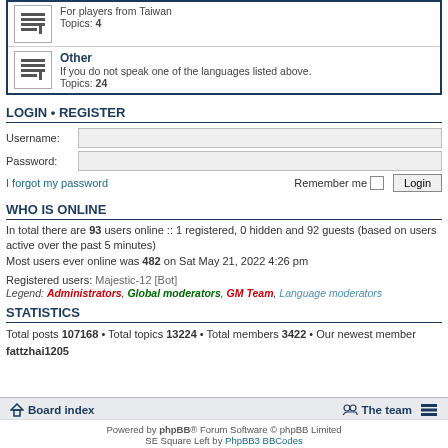For players from Taiwan
Topics: 4
Other
If you do not speak one of the languages listed above.
Topics: 24
LOGIN • REGISTER
Username:
Password:
I forgot my password   Remember me  [checkbox]  Login
WHO IS ONLINE
In total there are 93 users online :: 1 registered, 0 hidden and 92 guests (based on users active over the past 5 minutes)
Most users ever online was 482 on Sat May 21, 2022 4:26 pm
Registered users: Majestic-12 [Bot]
Legend: Administrators, Global moderators, GM Team, Language moderators
STATISTICS
Total posts 107168 • Total topics 13224 • Total members 3422 • Our newest member fattzhai1205
Board index   The team
Powered by phpBB® Forum Software © phpBB Limited
SE Square Left by PhpBB3 BBCodes